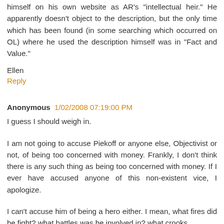himself on his own website as AR's "intellectual heir." He apparently doesn't object to the description, but the only time which has been found (in some searching which occurred on OL) where he used the description himself was in "Fact and Value."
Ellen
Reply
Anonymous  1/02/2008 07:19:00 PM
I guess I should weigh in.
I am not going to accuse Piekoff or anyone else, Objectivist or not, of being too concerned with money. Frankly, I don't think there is any such thing as being too concerned with money. If I ever have accused anyone of this non-existent vice, I apologize.
I can't accuse him of being a hero either. I mean, what fires did he fight? what battles was he involved in? what crooks did he nail? Probably none.